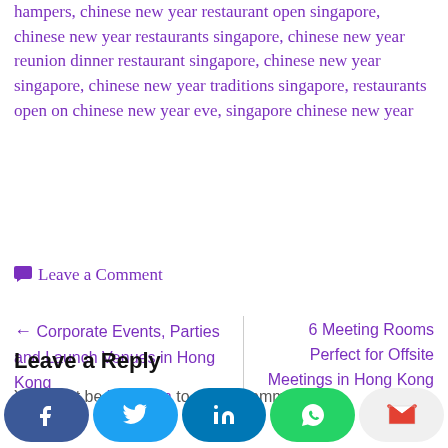hampers, chinese new year restaurant open singapore, chinese new year restaurants singapore, chinese new year reunion dinner restaurant singapore, chinese new year singapore, chinese new year traditions singapore, restaurants open on chinese new year eve, singapore chinese new year
Leave a Comment
← Corporate Events, Parties and Launch Venues in Hong Kong
6 Meeting Rooms Perfect for Offsite Meetings in Hong Kong →
Leave a Reply
You must be logged in to post a comment.
[Figure (other): Social share buttons: Facebook, Twitter, LinkedIn, WhatsApp, Gmail]